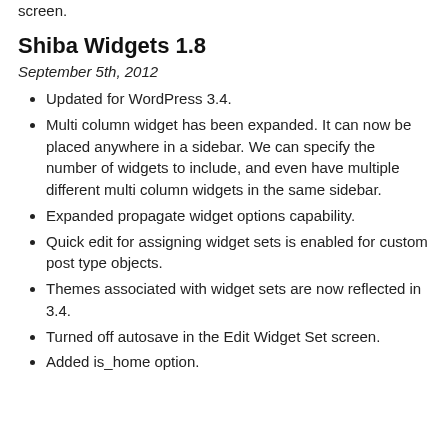screen.
Shiba Widgets 1.8
September 5th, 2012
Updated for WordPress 3.4.
Multi column widget has been expanded. It can now be placed anywhere in a sidebar. We can specify the number of widgets to include, and even have multiple different multi column widgets in the same sidebar.
Expanded propagate widget options capability.
Quick edit for assigning widget sets is enabled for custom post type objects.
Themes associated with widget sets are now reflected in 3.4.
Turned off autosave in the Edit Widget Set screen.
Added is_home option.